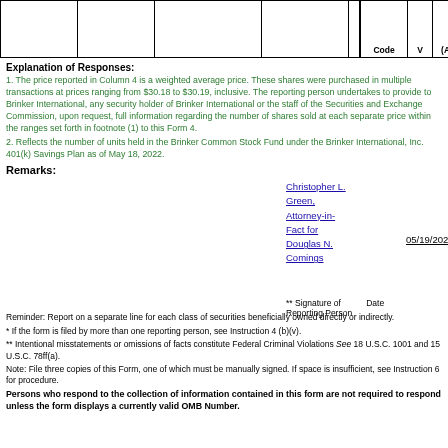|  |  |  |  |  | Code | V | (A) | (D) | Date Exercisab |
| --- | --- | --- | --- | --- | --- | --- | --- | --- | --- |
|  |  |  |  |  |  |  |  |  |  |
Explanation of Responses:
1. The price reported in Column 4 is a weighted average price. These shares were purchased in multiple transactions at prices ranging from $30.18 to $30.19, inclusive. The reporting person undertakes to provide to Brinker International, any security holder of Brinker International or the staff of the Securities and Exchange Commission, upon request, full information regarding the number of shares sold at each separate price within the ranges set forth in footnote (1) to this Form 4.
2. Reflects the number of units held in the Brinker Common Stock Fund under the Brinker International, Inc. 401(k) Savings Plan as of May 18, 2022.
Remarks:
Christopher L. Green, Attorney-in-Fact for Douglas N. Comings
05/19/2022
** Signature of Reporting Person   Date
Reminder: Report on a separate line for each class of securities beneficially owned directly or indirectly.
* If the form is filed by more than one reporting person, see Instruction 4 (b)(v).
** Intentional misstatements or omissions of facts constitute Federal Criminal Violations See 18 U.S.C. 1001 and 15 U.S.C. 78ff(a).
Note: File three copies of this Form, one of which must be manually signed. If space is insufficient, see Instruction 6 for procedure.
Persons who respond to the collection of information contained in this form are not required to respond unless the form displays a currently valid OMB Number.